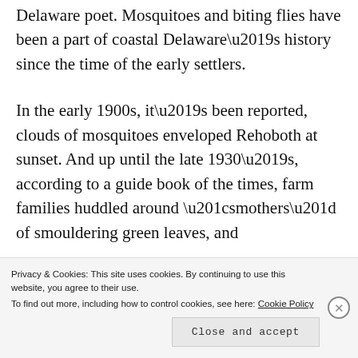Delaware poet. Mosquitoes and biting flies have been a part of coastal Delaware's history since the time of the early settlers.
In the early 1900s, it's been reported, clouds of mosquitoes enveloped Rehoboth at sunset. And up until the late 1930's, according to a guide book of the times, farm families huddled around “smothers” of smouldering green leaves, and
Privacy & Cookies: This site uses cookies. By continuing to use this website, you agree to their use.
To find out more, including how to control cookies, see here: Cookie Policy
Close and accept